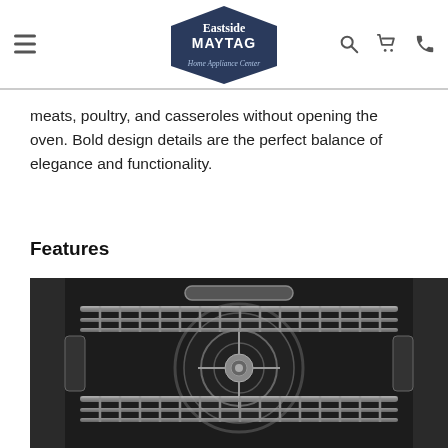Eastside Maytag Home Appliance Center
meats, poultry, and casseroles without opening the oven. Bold design details are the perfect balance of elegance and functionality.
Features
[Figure (photo): Black and white close-up photo of the interior of a dishwasher or oven, showing metal wire racks, a circular element or panel, and mechanical components in the center.]